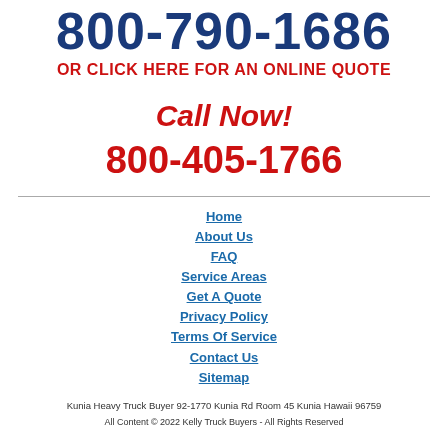800-790-1686
OR CLICK HERE FOR AN ONLINE QUOTE
Call Now!
800-405-1766
Home
About Us
FAQ
Service Areas
Get A Quote
Privacy Policy
Terms Of Service
Contact Us
Sitemap
Kunia Heavy Truck Buyer 92-1770 Kunia Rd Room 45 Kunia Hawaii 96759
All Content © 2022 Kelly Truck Buyers - All Rights Reserved